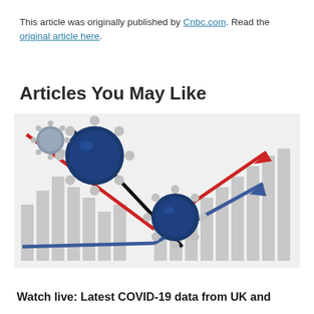This article was originally published by Cnbc.com. Read the original article here.
Articles You May Like
[Figure (illustration): Illustration of COVID-19 virus particles overlaid on a bar chart with red and blue arrows, one rising and one falling, symbolizing economic and health data trends.]
Watch live: Latest COVID-19 data from UK and